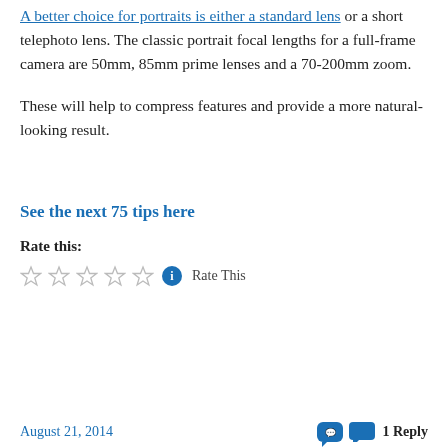A better choice for portraits is either a standard lens or a short telephoto lens. The classic portrait focal lengths for a full-frame camera are 50mm, 85mm prime lenses and a 70-200mm zoom.
These will help to compress features and provide a more natural-looking result.
See the next 75 tips here
Rate this:
Rate This
August 21, 2014   1 Reply